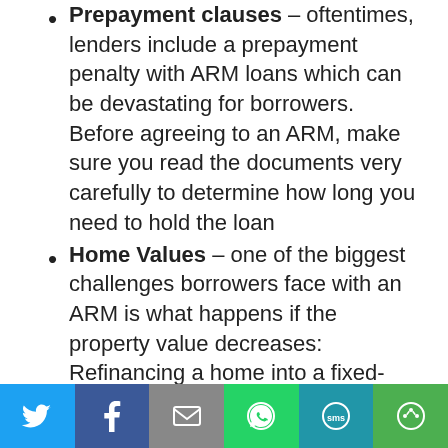Prepayment clauses – oftentimes, lenders include a prepayment penalty with ARM loans which can be devastating for borrowers. Before agreeing to an ARM, make sure you read the documents very carefully to determine how long you need to hold the loan
Home Values – one of the biggest challenges borrowers face with an ARM is what happens if the property value decreases: Refinancing a home into a fixed-rate mortgage may be impossible if this occurs.
Borrowers who are searching for the right mortgage should discuss all options with their
[Figure (infographic): Social sharing bar with Twitter, Facebook, Email, WhatsApp, SMS, and another sharing icon buttons]